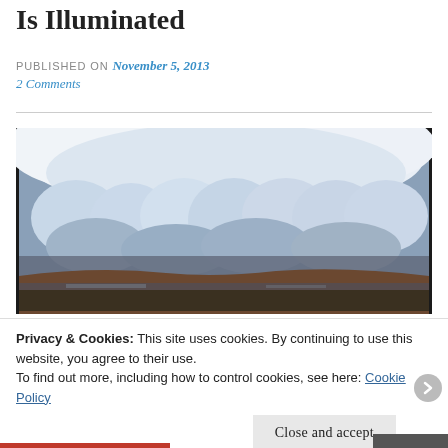Is Illuminated
PUBLISHED ON November 5, 2013
2 Comments
[Figure (photo): Dramatic storm cloud photo showing large billowing mammatus clouds hanging below a storm system, with a dark landscape of hills and water in the lower portion. Dark border around the image.]
Privacy & Cookies: This site uses cookies. By continuing to use this website, you agree to their use.
To find out more, including how to control cookies, see here: Cookie Policy
Close and accept